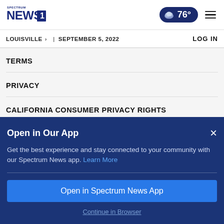Spectrum News 1 | Louisville | September 5, 2022 | 76° | LOG IN
TERMS
PRIVACY
CALIFORNIA CONSUMER PRIVACY RIGHTS
Open in Our App
Get the best experience and stay connected to your community with our Spectrum News app. Learn More
Open in Spectrum News App
Continue in Browser